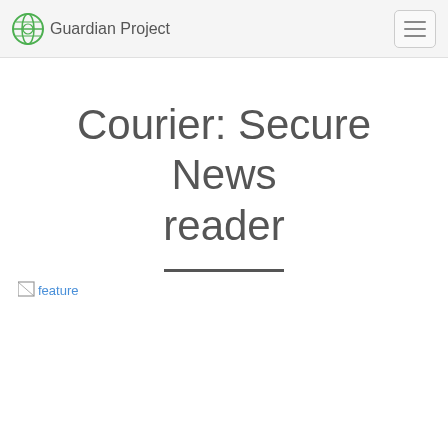Guardian Project
Courier: Secure News reader
[Figure (other): Broken image placeholder labeled 'feature']